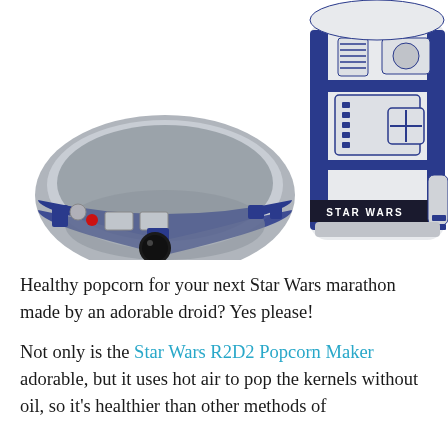[Figure (photo): Photo of a Star Wars R2D2 Popcorn Maker — a white and blue droid-shaped appliance — next to an R2D2-themed bowl. The bowl is gray with blue and red accents and a black lens detail on the front.]
Healthy popcorn for your next Star Wars marathon made by an adorable droid? Yes please!
Not only is the Star Wars R2D2 Popcorn Maker adorable, but it uses hot air to pop the kernels without oil, so it's healthier than other methods of